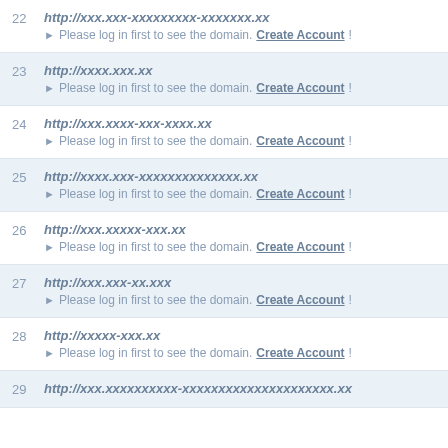22 http://xxx.xxx-xxxxxxxxx-xxxxxxx.xx ► Please log in first to see the domain. Create Account!
23 http://xxxx.xxx.xx ► Please log in first to see the domain. Create Account!
24 http://xxx.xxxx-xxx-xxxx.xx ► Please log in first to see the domain. Create Account!
25 http://xxxx.xxx-xxxxxxxxxxxxxx.xx ► Please log in first to see the domain. Create Account!
26 http://xxx.xxxxx-xxx.xx ► Please log in first to see the domain. Create Account!
27 http://xxx.xxx-xx.xxx ► Please log in first to see the domain. Create Account!
28 http://xxxxx-xxx.xx ► Please log in first to see the domain. Create Account!
29 http://xxx.xxxxxxxxxx-xxxxxxxxxxxxxxxxxxxxx.xx